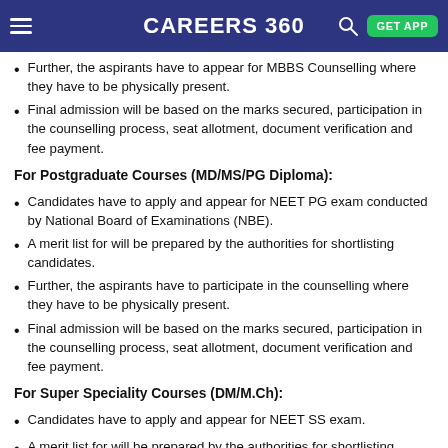CAREERS360 GET APP
Further, the aspirants have to appear for MBBS Counselling where they have to be physically present.
Final admission will be based on the marks secured, participation in the counselling process, seat allotment, document verification and fee payment.
For Postgraduate Courses (MD/MS/PG Diploma):
Candidates have to apply and appear for NEET PG exam conducted by National Board of Examinations (NBE).
A merit list for will be prepared by the authorities for shortlisting candidates.
Further, the aspirants have to participate in the counselling where they have to be physically present.
Final admission will be based on the marks secured, participation in the counselling process, seat allotment, document verification and fee payment.
For Super Speciality Courses (DM/M.Ch):
Candidates have to apply and appear for NEET SS exam.
A merit list for will be prepared by the authorities for shortlisting candidates.
Further, the aspirants have to participate in the counselling where they have to be physically present.